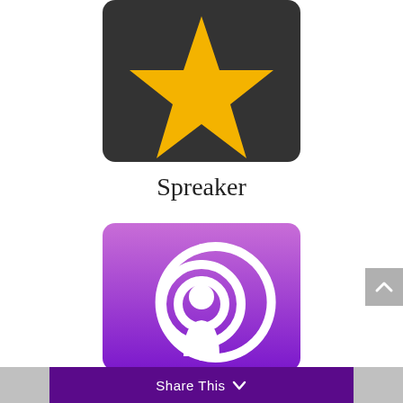[Figure (logo): Spreaker app logo: dark gray/charcoal square background with a golden yellow star shape (lightning bolt / shooting star style) in the center]
Spreaker
[Figure (logo): Apple Podcasts app icon: purple gradient square background with a white podcast signal/radio wave icon (concentric arcs above a person silhouette)]
Share This